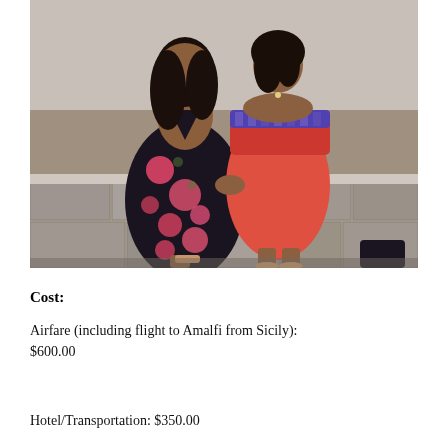[Figure (photo): Two women sitting together outdoors against a stone wall. One wears a black floral maxi dress, the other wears a red/coral off-shoulder romper. Travel/vacation setting.]
Cost:
Airfare (including flight to Amalfi from Sicily): $600.00
Hotel/Transportation: $350.00